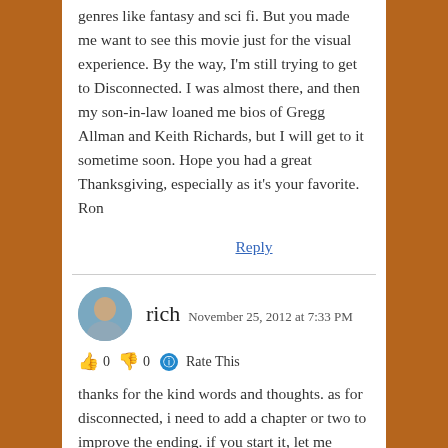genres like fantasy and sci fi. But you made me want to see this movie just for the visual experience. By the way, I'm still trying to get to Disconnected. I was almost there, and then my son-in-law loaned me bios of Gregg Allman and Keith Richards, but I will get to it sometime soon. Hope you had a great Thanksgiving, especially as it's your favorite. Ron
Reply
rich  November 25, 2012 at 7:33 PM
👍 0 👎 0 Rate This
thanks for the kind words and thoughts. as for disconnected, i need to add a chapter or two to improve the ending. if you start it, let me know so i work on that.
as for pi, if you think you won't see it, let me know, as you might be a great reader/reviewer.